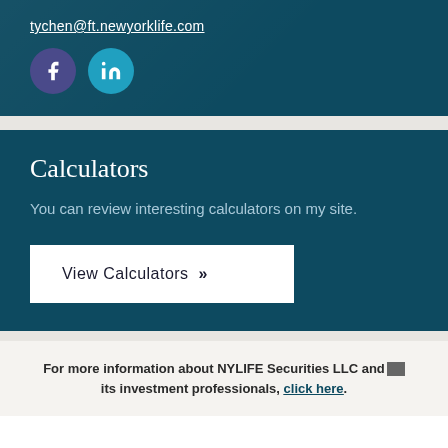tychen@ft.newyorklife.com
[Figure (illustration): Facebook and LinkedIn social media icons — two circular buttons, purple for Facebook with 'f' logo, teal for LinkedIn with 'in' logo]
Calculators
You can review interesting calculators on my site.
View Calculators »
For more information about NYLIFE Securities LLC and its investment professionals, click here.